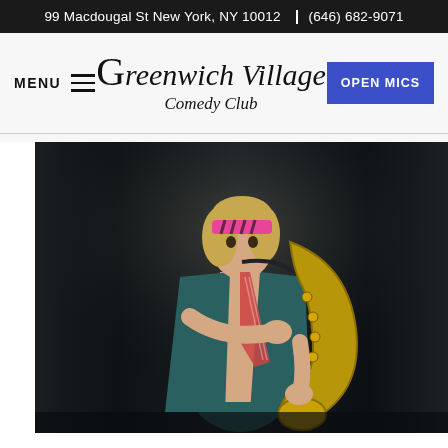99 Macdougal St New York, NY 10012 | (646) 682-9071
Greenwich Village Comedy Club
MENU
OPEN MICS
[Figure (photo): A young man with blonde hair wearing a pink zebra-print headband, teal sleeveless vest open at the chest, and a diagonal striped tie, holding a gold saxophone, posing against a dark curtain background.]